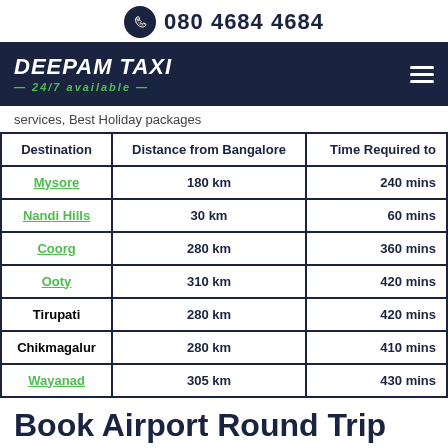080 4684 4684
[Figure (logo): Deepam Taxi logo with '24/7 available' tagline on dark navy background, with hamburger menu icon]
services, Best Holiday packages
| Destination | Distance from Bangalore | Time Required to |
| --- | --- | --- |
| Mysore | 180 km | 240 mins |
| Nandi Hills | 30 km | 60 mins |
| Coorg | 280 km | 360 mins |
| Ooty | 310 km | 420 mins |
| Tirupati | 280 km | 420 mins |
| Chikmagalur | 280 km | 410 mins |
| Wayanad | 305 km | 430 mins |
Book Airport Round Trip from